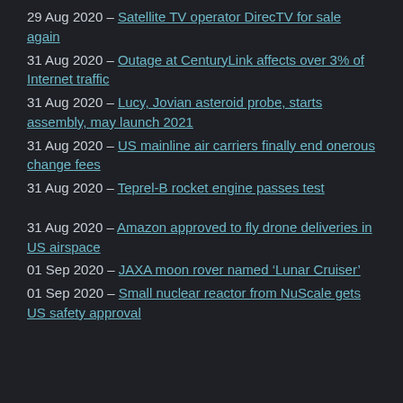29 Aug 2020 – Satellite TV operator DirecTV for sale again
31 Aug 2020 – Outage at CenturyLink affects over 3% of Internet traffic
31 Aug 2020 – Lucy, Jovian asteroid probe, starts assembly, may launch 2021
31 Aug 2020 – US mainline air carriers finally end onerous change fees
31 Aug 2020 – Teprel-B rocket engine passes test
31 Aug 2020 – Amazon approved to fly drone deliveries in US airspace
01 Sep 2020 – JAXA moon rover named ‘Lunar Cruiser’
01 Sep 2020 – Small nuclear reactor from NuScale gets US safety approval